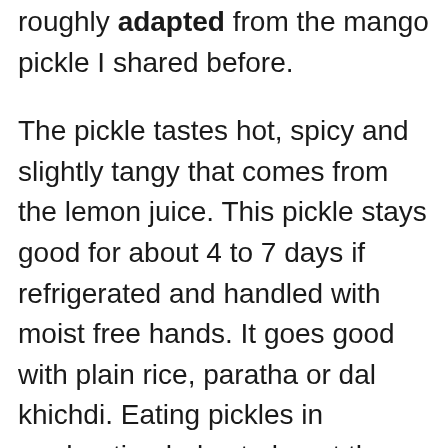roughly adapted from the mango pickle I shared before.
The pickle tastes hot, spicy and slightly tangy that comes from the lemon juice. This pickle stays good for about 4 to 7 days if refrigerated and handled with moist free hands. It goes good with plain rice, paratha or dal khichdi. Eating pickles in moderation helps to boost the appetite, so i serve this to the kids as well.
I made this pickle sometime back when I made dal khichdi and Lassi. I had no stock of the regular pickle to go with it. I had